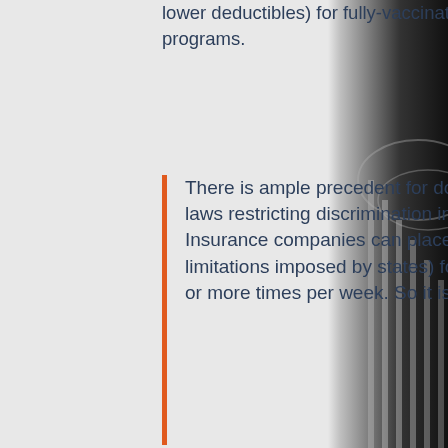lower deductibles) for fully-vaccinated Americans who enroll in wellness programs.
There is ample precedent for doing so. Smoking is exempted from federal laws restricting discrimination in premiums based on health status. Insurance companies can place a surcharge up to 50 percent (subject to limitations imposed by states) for anyone who uses a tobacco product four or more times per week. So it is not...
[Figure (photo): Black and white photo of the US Capitol building dome/columns on the right side of the page]